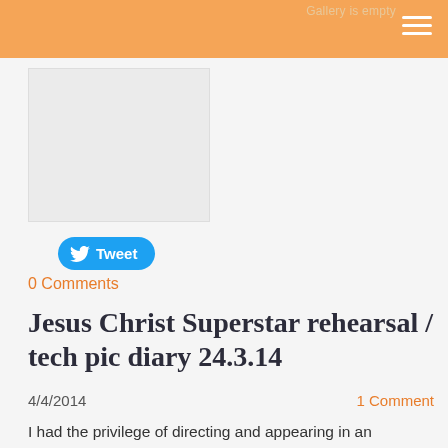Gallery is empty
[Figure (other): Advertisement or image placeholder block]
Tweet
0 Comments
Jesus Christ Superstar rehearsal / tech pic diary 24.3.14
4/4/2014    1 Comment
I had the privilege of directing and appearing in an ENORMOUS production of Jesus Christ Superstar in Gloucester Cathedral in March 2014. This is the first of three picture blogs